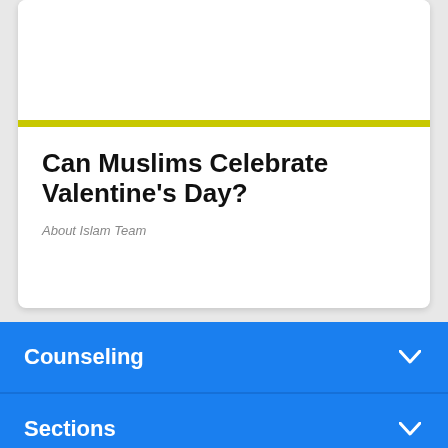Can Muslims Celebrate Valentine's Day?
About Islam Team
Counseling
Sections
Highlights